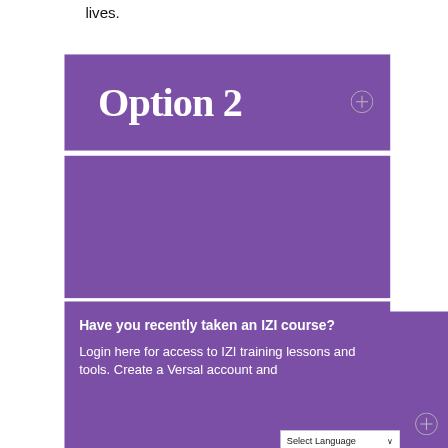lives.
Option 2
Additional Options
Have you recently taken an IZI course? Login here for access to IZI training lessons and tools. Create a Versal account and...
Select Language